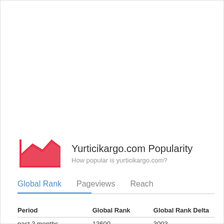[Figure (logo): Red area/mountain chart icon logo representing website analytics/popularity]
Yurticikargo.com Popularity
How popular is yurticikargo.com?
Global Rank   Pageviews   Reach
| Period | Global Rank | Global Rank Delta |
| --- | --- | --- |
| past 3 months | 13600 | 3003 |